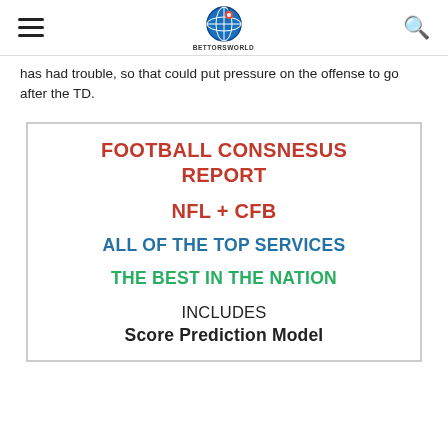BettorsWorld navigation header with hamburger menu, globe logo, and search icon
has had trouble, so that could put pressure on the offense to go after the TD.
[Figure (infographic): Promotional box for Football Consnesus Report featuring NFL + CFB, All of the Top Services, The Best in the Nation, Includes Score Prediction Model]
FOOTBALL CONSNESUS REPORT
NFL + CFB
ALL OF THE TOP SERVICES
THE BEST IN THE NATION
INCLUDES Score Prediction Model